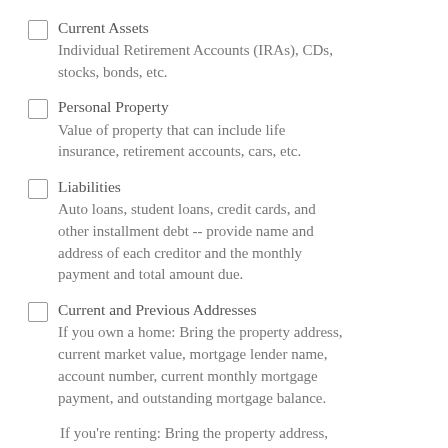checking, savings, and any other accounts.
Current Assets
Individual Retirement Accounts (IRAs), CDs, stocks, bonds, etc.
Personal Property
Value of property that can include life insurance, retirement accounts, cars, etc.
Liabilities
Auto loans, student loans, credit cards, and other installment debt -- provide name and address of each creditor and the monthly payment and total amount due.
Current and Previous Addresses
If you own a home: Bring the property address, current market value, mortgage lender name, account number, current monthly mortgage payment, and outstanding mortgage balance.
If you're renting: Bring the property address, name and address of the landlord, current